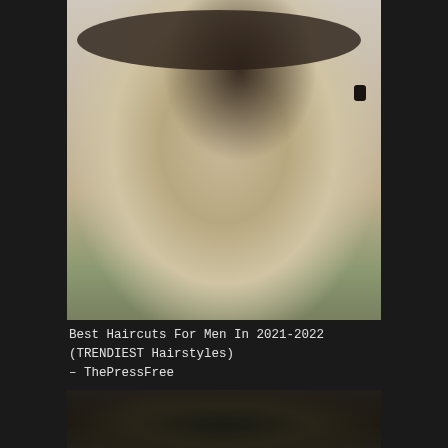[Figure (photo): Close-up profile/side view of a young man with a shaved head, dark eyebrows, a small black ear gauge/plug, light stubble, and a green/olive t-shirt. Background is light/white.]
Best Haircuts For Men In 2021-2022 (TRENDIEST Hairstyles) – ThePressFree
Most Popular Men's Haircuts For 2022
[Figure (photo): Partial view of the top of a man's head with dark black hair, styled, viewed from above/behind. Background appears to include green foliage.]